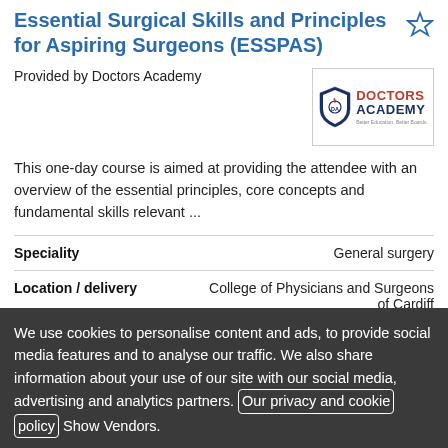Essential Surgical Skills and Principles for Aspiring Surgeons (ESSPAS)
Provided by Doctors Academy
[Figure (logo): Doctors Academy logo with shield emblem, red 'DOCTORS' text and navy 'ACADEMY' text]
This one-day course is aimed at providing the attendee with an overview of the essential principles, core concepts and fundamental skills relevant ...
| Field | Value |
| --- | --- |
| Speciality | General surgery |
| Location / delivery | College of Physicians and Surgeons of Cardiff |
| Start date | 29 Oct 2022 |
| Duration | 1 Day |
We use cookies to personalise content and ads, to provide social media features and to analyse our traffic. We also share information about your use of our site with our social media, advertising and analytics partners. Our privacy and cookie policy Show Vendors.